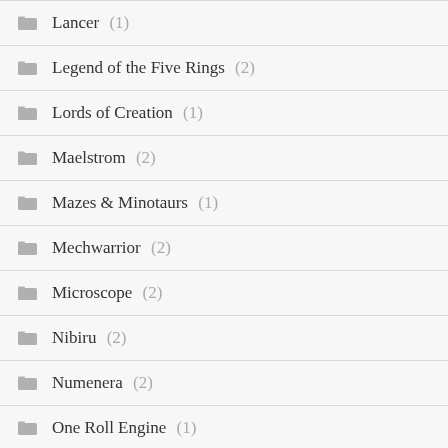Lancer (1)
Legend of the Five Rings (2)
Lords of Creation (1)
Maelstrom (2)
Mazes & Minotaurs (1)
Mechwarrior (2)
Microscope (2)
Nibiru (2)
Numenera (2)
One Roll Engine (1)